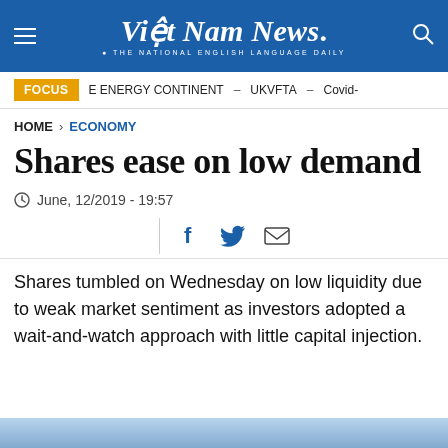Việt Nam News. THE NATIONAL ENGLISH LANGUAGE DAILY
FOCUS  E ENERGY CONTINENT – UKVFTA – Covid-
HOME > ECONOMY
Shares ease on low demand
June, 12/2019 - 19:57
Shares tumbled on Wednesday on low liquidity due to weak market sentiment as investors adopted a wait-and-watch approach with little capital injection.